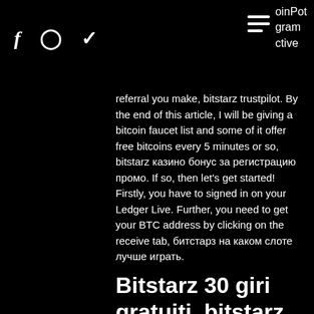oinPot gram ctive
referral you make, bitstarz trustpilot. By the end of this article, I will be giving a bitcoin faucet list and some of it offer free bitcoins every 5 minutes or so, bitstarz казино бонус за регистрацию промо. If so, then let's get started! Firstly, you have to signed in on your Ledger Live. Further, you need to get your BTC address by clicking on the receive tab, битстарз на каком слоте лучше играть.
Bitstarz 30 giri gratuiti, bitstarz casino официальный сайт скачать бесплатно
What is a Bitcoin Faucet? Bitcoin faucet is a reward system in the form of a website or app that releases rewards in the form of a